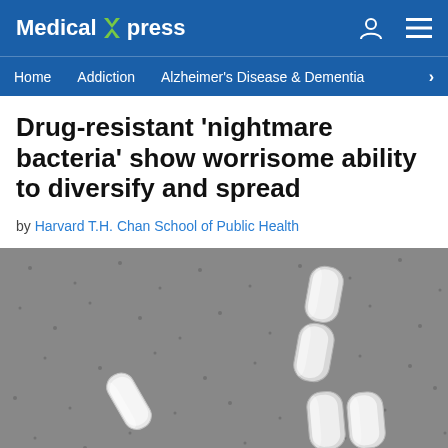Medical Xpress
Home  Addiction  Alzheimer's Disease & Dementia
Drug-resistant 'nightmare bacteria' show worrisome ability to diversify and spread
by Harvard T.H. Chan School of Public Health
[Figure (photo): Scanning electron microscope image of bacteria (Klebsiella pneumoniae or similar drug-resistant bacteria) on a gray porous surface. Several rod-shaped white bacterial cells are visible, including a cluster of two stacked bacteria in the upper right, two individual bacteria in the lower right, and one bacterium on the left side.]